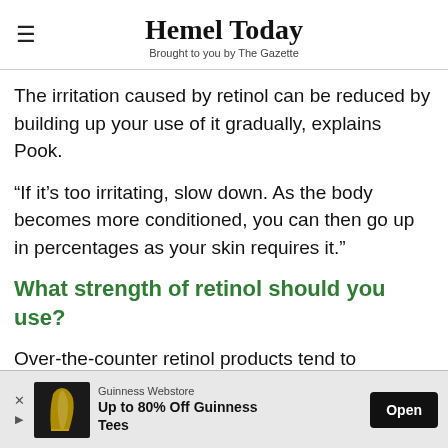Hemel Today — Brought to you by The Gazette
The irritation caused by retinol can be reduced by building up your use of it gradually, explains Pook.
“If it’s too irritating, slow down. As the body becomes more conditioned, you can then go up in percentages as your skin requires it.”
What strength of retinol should you use?
Over-the-counter retinol products tend to come… 0.3%
[Figure (other): Advertisement banner: Guinness Webstore — Up to 80% Off Guinness Tees. Open button.]